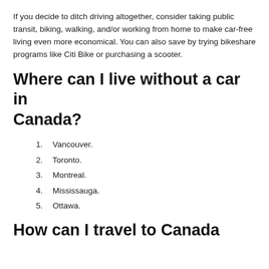If you decide to ditch driving altogether, consider taking public transit, biking, walking, and/or working from home to make car-free living even more economical. You can also save by trying bikeshare programs like Citi Bike or purchasing a scooter.
Where can I live without a car in Canada?
1. Vancouver.
2. Toronto.
3. Montreal.
4. Mississauga.
5. Ottawa.
How can I travel to Canada